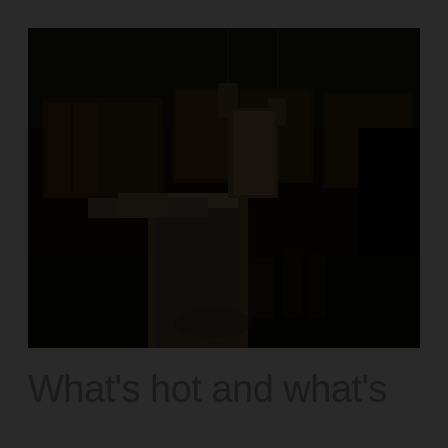[Figure (photo): A dark interior photo of a kitchen with wooden cabinets, a white kitchen island, pendant lights hanging from the ceiling, and bar stools. The image is very dark/underexposed.]
What's hot and what's